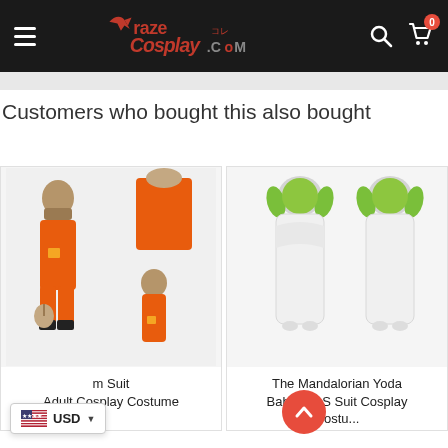Raze Cosplay .com — Navigation header with hamburger menu, logo, search and cart icons (cart badge: 0)
Customers who bought this also bought
[Figure (photo): Cosplay costume product image: orange jumpsuit with burlap mask outfit, shown front and back views including adult and child sizes]
m Suit Adult Cosplay Costume
[Figure (photo): The Mandalorian Yoda Baby Kid S Suit cosplay costume in white robe with green Yoda ear hood, front and back views]
The Mandalorian Yoda Baby Kid S Suit Cosplay Costu...
[Figure (photo): Partial view of a third cosplay costume — dark/black outfit with cape (Star Wars related)]
The S Wars S... Suit